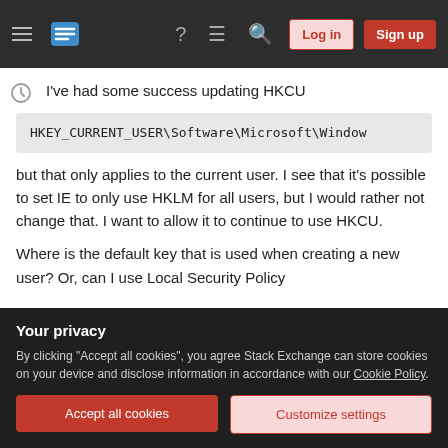Stack Exchange navigation bar with hamburger menu, logo, help, chat, search icons, Log in and Sign up buttons
I've had some success updating HKCU
HKEY_CURRENT_USER\Software\Microsoft\Window
but that only applies to the current user. I see that it's possible to set IE to only use HKLM for all users, but I would rather not change that. I want to allow it to continue to use HKCU.
Where is the default key that is used when creating a new user? Or, can I use Local Security Policy
Your privacy
By clicking "Accept all cookies", you agree Stack Exchange can store cookies on your device and disclose information in accordance with our Cookie Policy.
Accept all cookies
Customize settings